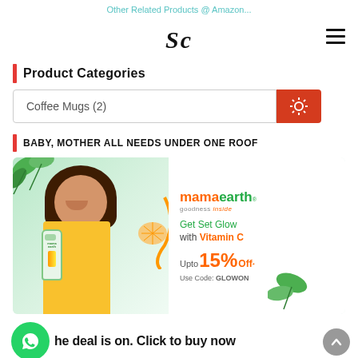Other Related Products @ Amazon...
Sc
Product Categories
Coffee Mugs (2)
BABY, MOTHER ALL NEEDS UNDER ONE ROOF
[Figure (photo): Mamaearth advertisement showing a woman holding a Vitamin C product bottle, with mamaearth logo, 'Get Set Glow with Vitamin C', 'Upto 15% Off*', 'Use Code: GLOWON']
he deal is on. Click to buy now